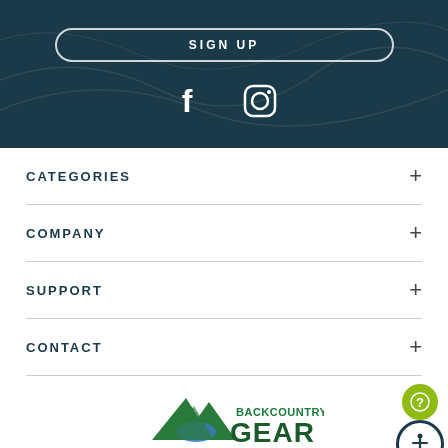[Figure (screenshot): Dark teal header section with SIGN UP button and Facebook and Instagram social media icons]
CATEGORIES
COMPANY
SUPPORT
CONTACT
[Figure (logo): Backcountry Gear logo with green mountain/wing icon and text BACKCOUNTRY GEAR]
© 2022 Backcountry Gear – All Rights Reserved. Site by DigitlLava